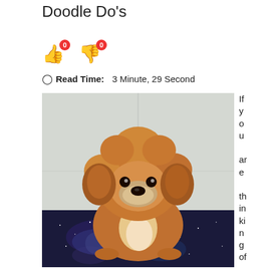Doodle Do's
[Figure (other): Like and dislike reaction buttons with count badges showing 0 each]
Read Time: 3 Minute, 29 Second
[Figure (photo): A fluffy brown/golden doodle dog sitting on a galaxy-patterned surface against a light background. The dog has a round, fluffy head and is looking directly at the camera.]
If you are thinking of g